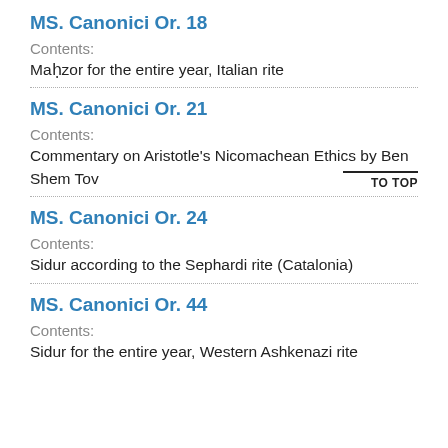MS. Canonici Or. 18
Contents:
Maḥzor for the entire year, Italian rite
MS. Canonici Or. 21
Contents:
Commentary on Aristotle's Nicomachean Ethics by Ben Shem Tov
MS. Canonici Or. 24
Contents:
Sidur according to the Sephardi rite (Catalonia)
MS. Canonici Or. 44
Contents:
Sidur for the entire year, Western Ashkenazi rite